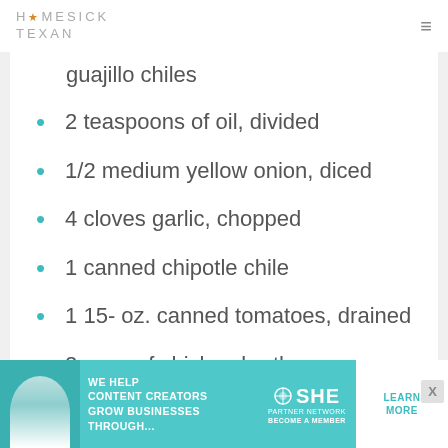HOMESICK TEXAN
guajillo chiles
2 teaspoons of oil, divided
1/2 medium yellow onion, diced
4 cloves garlic, chopped
1 canned chipotle chile
1 15- oz. canned tomatoes, drained
2 cups of chicken broth
1 teaspoon cumin
1/2 teaspoon oregano
[Figure (infographic): SHE Media partner network advertisement banner with text: WE HELP CONTENT CREATORS GROW BUSINESSES THROUGH... LEARN MORE, BECOME A MEMBER]